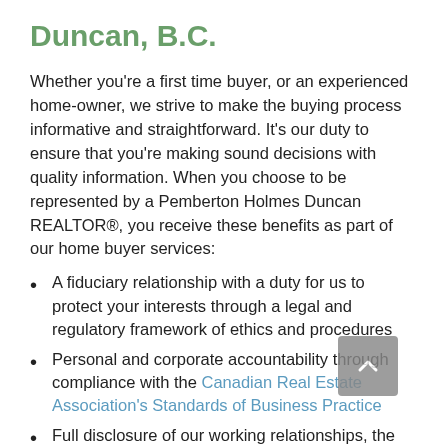Duncan, B.C.
Whether you're a first time buyer, or an experienced home-owner, we strive to make the buying process informative and straightforward. It's our duty to ensure that you're making sound decisions with quality information. When you choose to be represented by a Pemberton Holmes Duncan REALTOR®, you receive these benefits as part of our home buyer services:
A fiduciary relationship with a duty for us to protect your interests through a legal and regulatory framework of ethics and procedures
Personal and corporate accountability through compliance with the Canadian Real Estate Association's Standards of Business Practice
Full disclosure of our working relationships, the details of your transaction, and a commitment to transparency
Strict avoidance of conflicts of interest and